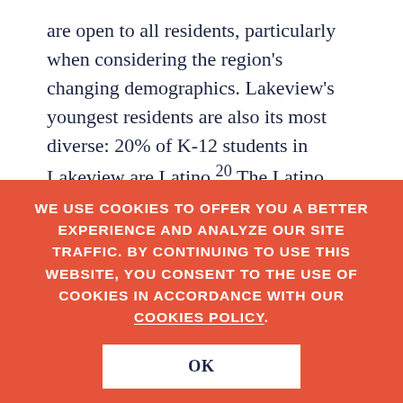are open to all residents, particularly when considering the region's changing demographics. Lakeview's youngest residents are also its most diverse: 20% of K-12 students in Lakeview are Latino.20 The Latino community is growing, and some residents have observed that its members are
WE USE COOKIES TO OFFER YOU A BETTER EXPERIENCE AND ANALYZE OUR SITE TRAFFIC. BY CONTINUING TO USE THIS WEBSITE, YOU CONSENT TO THE USE OF COOKIES IN ACCORDANCE WITH OUR COOKIES POLICY.
OK